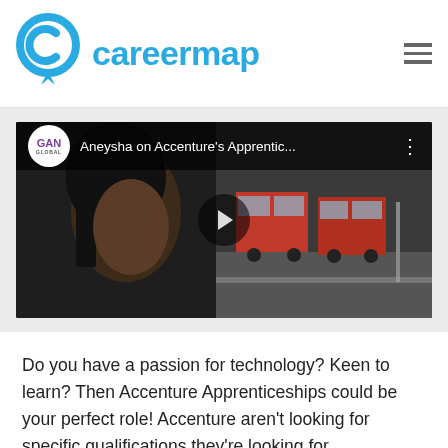careermap
[Figure (screenshot): YouTube video thumbnail showing a young woman with buses in the background. Video title: 'Aneysha on Accenture's Apprentic...' with GAN Global logo badge.]
Do you have a passion for technology? Keen to learn? Then Accenture Apprenticeships could be your perfect role! Accenture aren't looking for specific qualifications they're looking for enthusiastic people with a bright mind and the